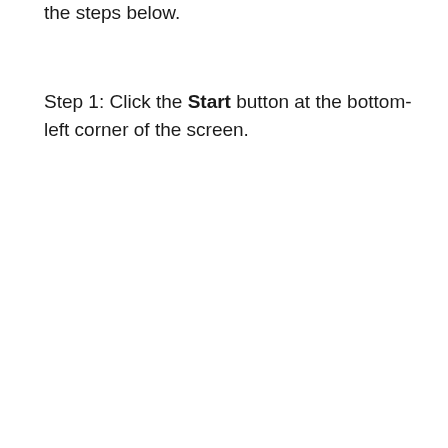the steps below.
Step 1: Click the Start button at the bottom-left corner of the screen.